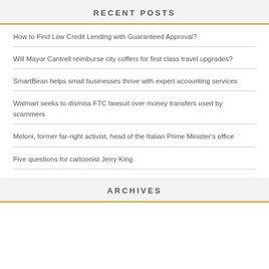RECENT POSTS
How to Find Low Credit Lending with Guaranteed Approval?
Will Mayor Cantrell reimburse city coffers for first class travel upgrades?
SmartBean helps small businesses thrive with expert accounting services
Walmart seeks to dismiss FTC lawsuit over money transfers used by scammers
Meloni, former far-right activist, head of the Italian Prime Minister's office
Five questions for cartoonist Jerry King
ARCHIVES